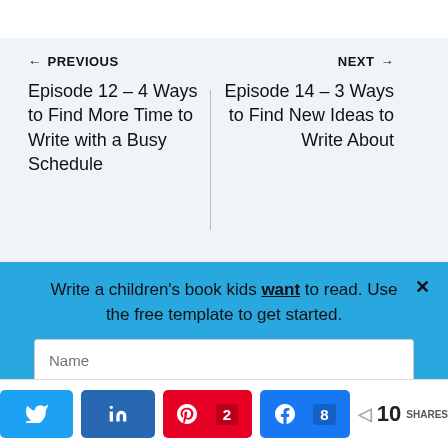← PREVIOUS
NEXT →
Episode 12 – 4 Ways to Find More Time to Write with a Busy Schedule
Episode 14 – 3 Ways to Find New Ideas to Write About
Write a children's book kids want to read. Use the free template to get started.
Name
Email
10 SHARES